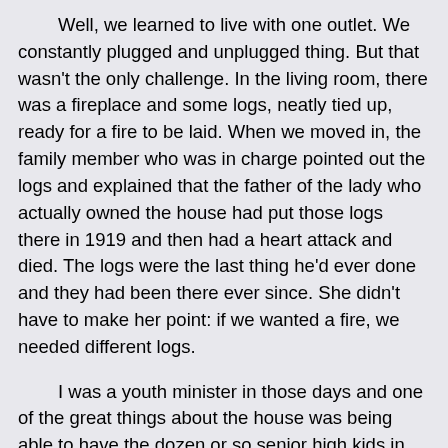Well, we learned to live with one outlet. We constantly plugged and unplugged thing. But that wasn't the only challenge. In the living room, there was a fireplace and some logs, neatly tied up, ready for a fire to be laid. When we moved in, the family member who was in charge pointed out the logs and explained that the father of the lady who actually owned the house had put those logs there in 1919 and then had a heart attack and died. The logs were the last thing he'd ever done and they had been there ever since. She didn't have to make her point: if we wanted a fire, we needed different logs.
I was a youth minister in those days and one of the great things about the house was being able to have the dozen or so senior high kids in my youth group meet there. Now senior high kids haven't quite grown up so sometimes they revert to being two year olds. We all do. One day, while I was off getting snacks from the kitchen, they got to wrestling around. I heard the noise of it but when you're a youth minister, you get used to noise, so I didn't worry until I went back in the living room and everything was quiet. Quiet always concerns youth ministers. I looked around and asked, “What happened?” And then I followed their eyes to the logs. The logs were no longer tied;